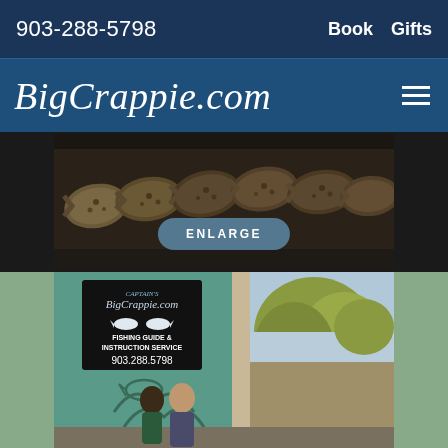903-288-5798  Book  Gifts
BigCrappie.com
[Figure (photo): Row of crappie fish laid out on a dark surface, with an ENLARGE button overlay]
[Figure (photo): BigCrappie.com Fishing Guide & Instruction Service sign showing 903.288.5798, with two people standing beneath it in front of a teal decorative door, trees in background]